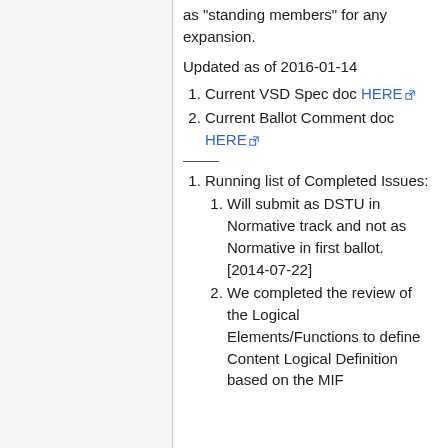as "standing members" for any expansion.
Updated as of 2016-01-14
Current VSD Spec doc HERE
Current Ballot Comment doc HERE
Running list of Completed Issues:
Will submit as DSTU in Normative track and not as Normative in first ballot. [2014-07-22]
We completed the review of the Logical Elements/Functions to define Content Logical Definition based on the MIF